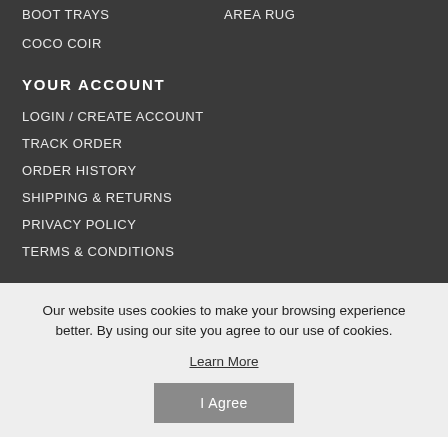BOOT TRAYS
AREA RUG
COCO COIR
YOUR ACCOUNT
LOGIN / CREATE ACCOUNT
TRACK ORDER
ORDER HISTORY
SHIPPING & RETURNS
PRIVACY POLICY
TERMS & CONDITIONS
Our website uses cookies to make your browsing experience better. By using our site you agree to our use of cookies.
Learn More
I Agree